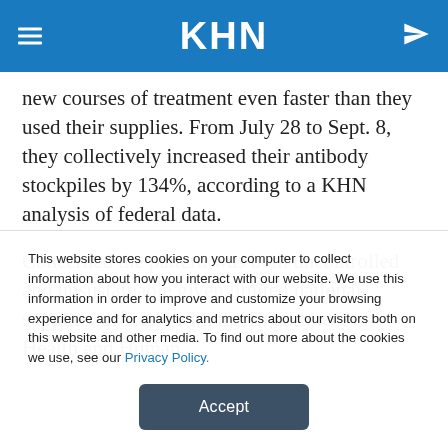KHN
new courses of treatment even faster than they used their supplies. From July 28 to Sept. 8, they collectively increased their antibody stockpiles by 134%, according to a KHN analysis of federal data.
Concerned the pattern was both uncontrolled and unsustainable given limited national supplies, officials with the Department of Health and Human
This website stores cookies on your computer to collect information about how you interact with our website. We use this information in order to improve and customize your browsing experience and for analytics and metrics about our visitors both on this website and other media. To find out more about the cookies we use, see our Privacy Policy.
Accept